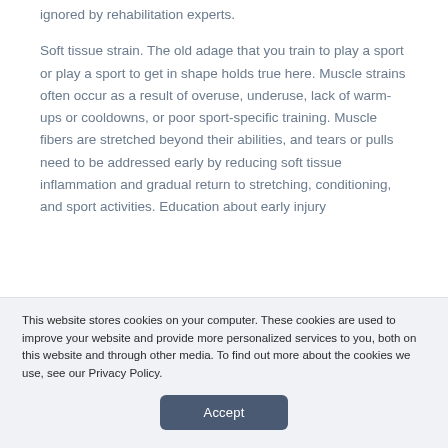We believe this is a piece of the low back puzzle ignored by rehabilitation experts.
Soft tissue strain. The old adage that you train to play a sport or play a sport to get in shape holds true here. Muscle strains often occur as a result of overuse, underuse, lack of warm-ups or cooldowns, or poor sport-specific training. Muscle fibers are stretched beyond their abilities, and tears or pulls need to be addressed early by reducing soft tissue inflammation and gradual return to stretching, conditioning, and sport activities. Education about early injury
This website stores cookies on your computer. These cookies are used to improve your website and provide more personalized services to you, both on this website and through other media. To find out more about the cookies we use, see our Privacy Policy.